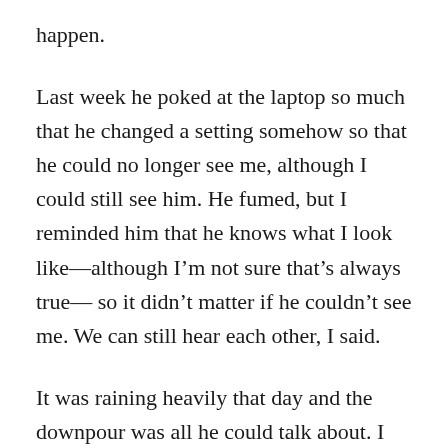happen.
Last week he poked at the laptop so much that he changed a setting somehow so that he could no longer see me, although I could still see him. He fumed, but I reminded him that he knows what I look like—although I'm not sure that's always true— so it didn't matter if he couldn't see me. We can still hear each other, I said.
It was raining heavily that day and the downpour was all he could talk about. I tried to change his focus. “You look good today,” I told him, “but it’s time to